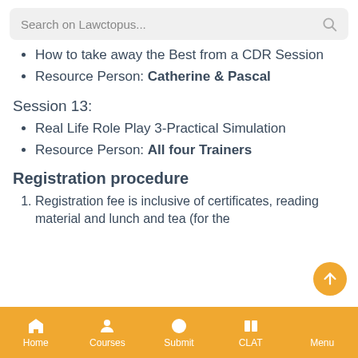Search on Lawctopus...
How to take away the Best from a CDR Session
Resource Person: Catherine & Pascal
Session 13:
Real Life Role Play 3-Practical Simulation
Resource Person: All four Trainers
Registration procedure
Registration fee is inclusive of certificates, reading material and lunch and tea (for the